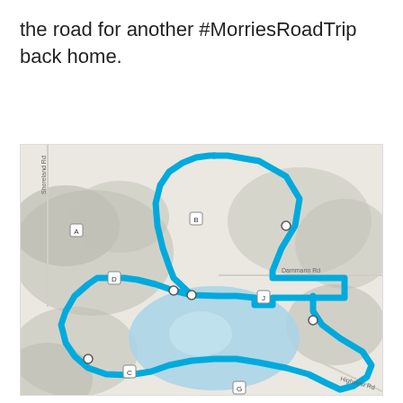the road for another #MorriesRoadTrip back home.
[Figure (map): A Google Maps-style road trip route map showing a blue route path around a lake area with several waypoints marked as circles and square road markers labeled A, B, C, D, J. The route forms a loop around a light blue lake. Road labels include Shoreland Rd, Dammann Rd, Highview Rd. The terrain shows grey hills/elevation in the background.]